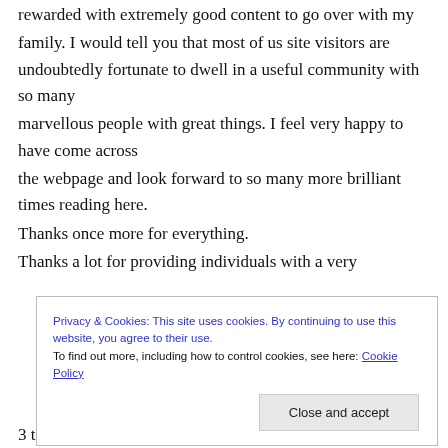rewarded with extremely good content to go over with my family. I would tell you that most of us site visitors are undoubtedly fortunate to dwell in a useful community with so many marvellous people with great things. I feel very happy to have come across the webpage and look forward to so many more brilliant times reading here. Thanks once more for everything. Thanks a lot for providing individuals with a very
Privacy & Cookies: This site uses cookies. By continuing to use this website, you agree to their use. To find out more, including how to control cookies, see here: Cookie Policy
Close and accept
3 times in one week to study the latest issues